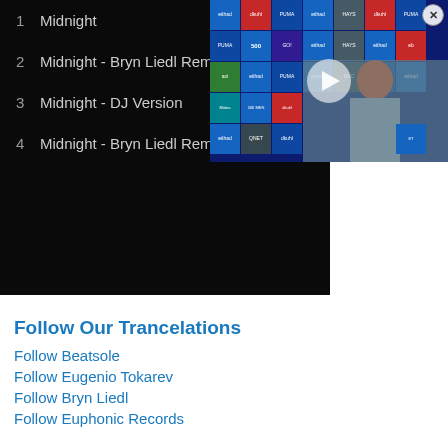1  Midnight  3:20
2  Midnight - Bryn Liedl Remix  3:06
3  Midnight - DJ Version
4  Midnight - Bryn Liedl Remi
[Figure (screenshot): Video thumbnail overlay showing a man at a press conference with sponsor logos (Etihad, Puma, Hays, QNET, etc.) in the background. A play button is overlaid on the thumbnail. A close (X) button appears in the top right corner.]
Follow Our Trancelations
Follow Beatsole
Follow Eugenio Tokarev
Follow Bryn Liedl
Follow Euphonic Records